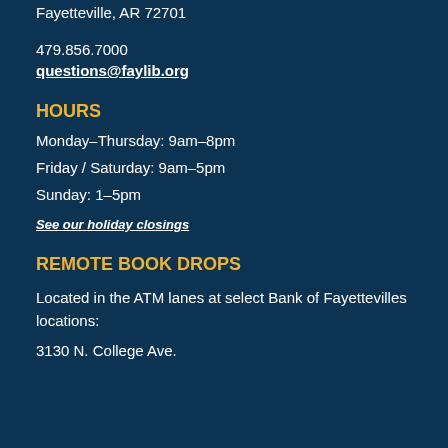Fayetteville, AR 72701
479.856.7000
questions@faylib.org
HOURS
Monday–Thursday: 9am–8pm
Friday / Saturday: 9am–5pm
Sunday: 1–5pm
See our holiday closings
REMOTE BOOK DROPS
Located in the ATM lanes at select Bank of Fayettevilles locations:
3130 N. College Ave.